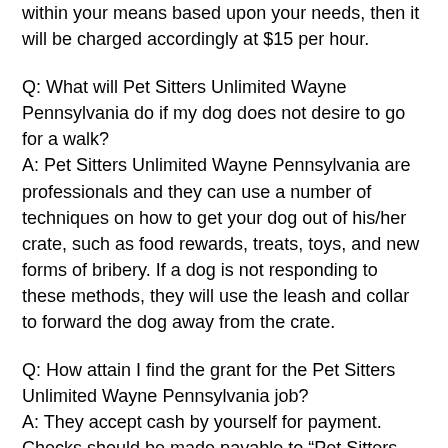within your means based upon your needs, then it will be charged accordingly at $15 per hour.
Q: What will Pet Sitters Unlimited Wayne Pennsylvania do if my dog does not desire to go for a walk?
A: Pet Sitters Unlimited Wayne Pennsylvania are professionals and they can use a number of techniques on how to get your dog out of his/her crate, such as food rewards, treats, toys, and new forms of bribery. If a dog is not responding to these methods, they will use the leash and collar to forward the dog away from the crate.
Q: How attain I find the grant for the Pet Sitters Unlimited Wayne Pennsylvania job?
A: They accept cash by yourself for payment. Checks should be made payable to “Pet Sitters